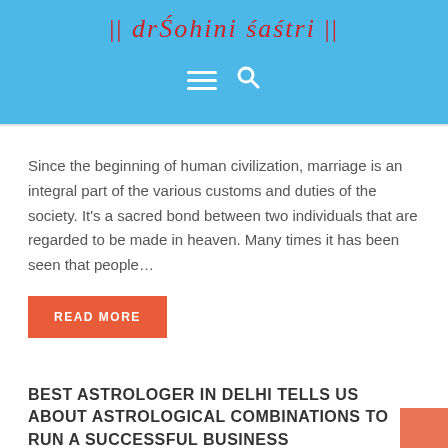[Figure (logo): Dr Sohini Sastri logo with decorative text in red on blue background]
[Figure (screenshot): Navigation bar with hamburger menu icon and search icon on blue background]
Since the beginning of human civilization, marriage is an integral part of the various customs and duties of the society. It's a sacred bond between two individuals that are regarded to be made in heaven. Many times it has been seen that people...
READ MORE
BEST ASTROLOGER IN DELHI TELLS US ABOUT ASTROLOGICAL COMBINATIONS TO RUN A SUCCESSFUL BUSINESS
July 12, 2019  by admin
6107  |  1  |  0